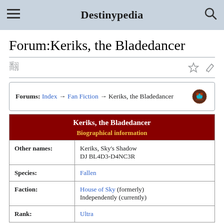Destinypedia
Forum:Keriks, the Bladedancer
Forums: Index → Fan Fiction → Keriks, the Bladedancer
| Keriks, the Bladedancer – Biographical information |
| --- |
| Other names: | Keriks, Sky's Shadow
DJ BL4D3-D4NC3R |
| Species: | Fallen |
| Faction: | House of Sky (formerly)
Independently (currently) |
| Rank: | Ultra |